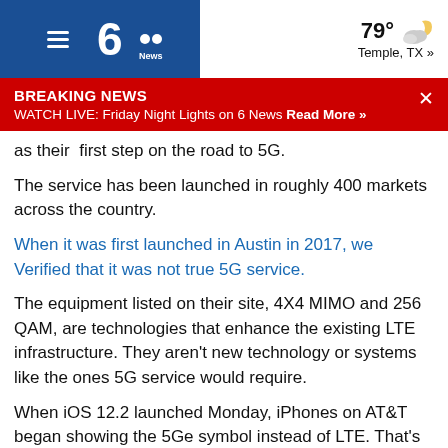KXXV 25 News — 79° Temple, TX »
BREAKING NEWS
WATCH LIVE: Friday Night Lights on 6 News Read More »
as their  first step on the road to 5G.
The service has been launched in roughly 400 markets across the country.
When it was first launched in Austin in 2017, we Verified that it was not true 5G service.
The equipment listed on their site, 4X4 MIMO and 256 QAM, are technologies that enhance the existing LTE infrastructure. They aren't new technology or systems like the ones 5G service would require.
When iOS 12.2 launched Monday, iPhones on AT&T began showing the 5Ge symbol instead of LTE. That's meant to indicate that users are receiving an enhanced service. Some android users have seen this logo instead for a few